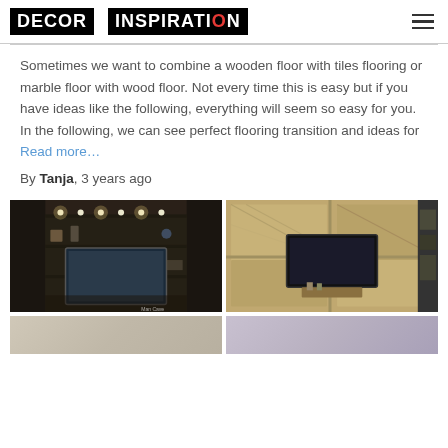DECOR INSPIRATION
Sometimes we want to combine a wooden floor with tiles flooring or marble floor with wood floor. Not every time this is easy but if you have ideas like the following, everything will seem so easy for you. In the following, we can see perfect flooring transition and ideas for Read more…
By Tanja, 3 years ago
[Figure (photo): Interior room with dark shelving unit with spotlights and TV display]
[Figure (photo): Modern living room with wooden panel wall and mounted TV]